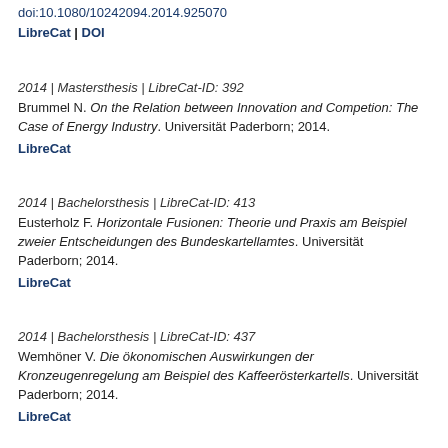doi:10.1080/10242094.2014.925070
LibreCat | DOI
2014 | Mastersthesis | LibreCat-ID: 392
Brummel N. On the Relation between Innovation and Competion: The Case of Energy Industry. Universität Paderborn; 2014.
LibreCat
2014 | Bachelorsthesis | LibreCat-ID: 413
Eusterholz F. Horizontale Fusionen: Theorie und Praxis am Beispiel zweier Entscheidungen des Bundeskartellamtes. Universität Paderborn; 2014.
LibreCat
2014 | Bachelorsthesis | LibreCat-ID: 437
Wemhöner V. Die ökonomischen Auswirkungen der Kronzeugenregelung am Beispiel des Kaffeerösterkartells. Universität Paderborn; 2014.
LibreCat